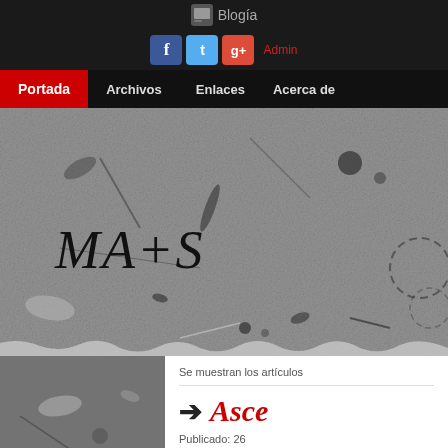Blogia
[Figure (screenshot): Social media icons: Facebook, Twitter, Google+ and Admin link]
Portada | Archivos | Enlaces | Acerca de
[Figure (photo): Black and white textured background with ink splatter marks, displaying blog title 'MA+S' in large serif italic font]
[Figure (photo): Left panel dark textured image with TEMAS label bar at bottom]
Se muestran los artículos
Asce
Publicado: 26